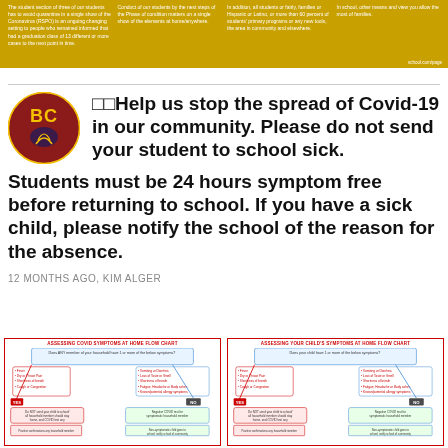Page header banner with multiple columns of small text about COVID-19 guidelines and community information.
[Figure (logo): Round school logo with red background and yellow/gold letters BC or GC with a bird/feather graphic]
□□Help us stop the spread of Covid-19 in our community. Please do not send your student to school sick. Students must be 24 hours symptom free before returning to school. If you have a sick child, please notify the school of the reason for the absence.
12 MONTHS AGO, KIM ALGER
[Figure (flowchart): ASSESSING COVID SYMPTOMS AT HOME FLOW CHART - flowchart showing steps for assessing COVID symptoms at home for household members]
[Figure (flowchart): ASSESSING YOUR CHILD'S SYMPTOMS AT HOME FLOW CHART - flowchart showing steps for assessing COVID symptoms at home for children]